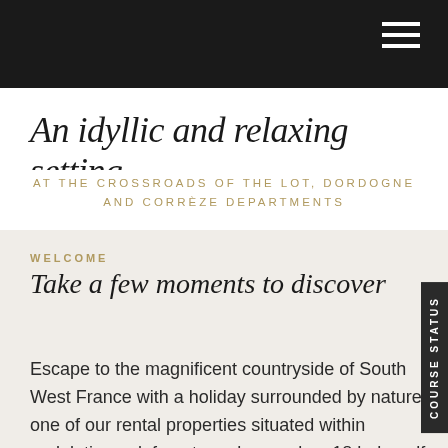An idyllic and relaxing setting
AT THE CROSSROADS OF THE LOT, DORDOGNE AND CORRÈZE DEPARTMENTS
WELCOME
Take a few moments to discover
Escape to the magnificent countryside of South West France with a holiday surrounded by nature in one of our rental properties situated within undulating oak forests and around an 18 hole golf course.